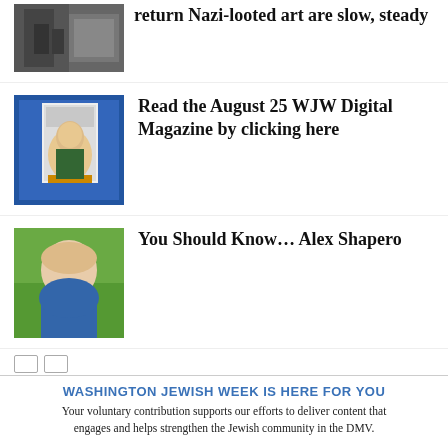return Nazi-looted art are slow, steady
[Figure (photo): Grayscale historical photo, partially visible at top of page]
[Figure (photo): Magazine cover thumbnail with woman on blue background]
Read the August 25 WJW Digital Magazine by clicking here
[Figure (photo): Headshot of a young bald man smiling, outdoor background]
You Should Know… Alex Shapero
WASHINGTON JEWISH WEEK IS HERE FOR YOU
Your voluntary contribution supports our efforts to deliver content that engages and helps strengthen the Jewish community in the DMV.
LEAVE A REPLY
CONTRIBUTE
Comment